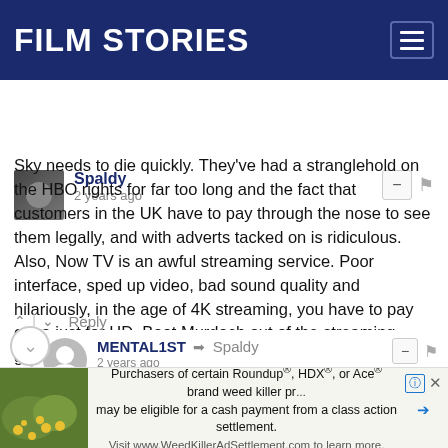FILM STORIES
Spaldy
2 years ago
Sky needs to die quickly. They've had a stranglehold on the HBO rights for far too long and the fact that customers in the UK have to pay through the nose to see them legally, and with adverts tacked on is ridiculous. Also, Now TV is an awful streaming service. Poor interface, sped up video, bad sound quality and hilariously, in the age of 4K streaming, you have to pay extra just for HD. Boot Murdoch out of the streaming game.
Reply
MENTAL1ST → Spaldy
2 years ago
Murdoch is already out of the streaming game, Sky is now ned by Comcast.
[Figure (other): Advertisement banner: Purchasers of certain Roundup®, HDX®, or Ace® brand weed killer products may be eligible for a cash payment from a class action settlement. Visit www.WeedKillerAdSettlement.com to learn more.]